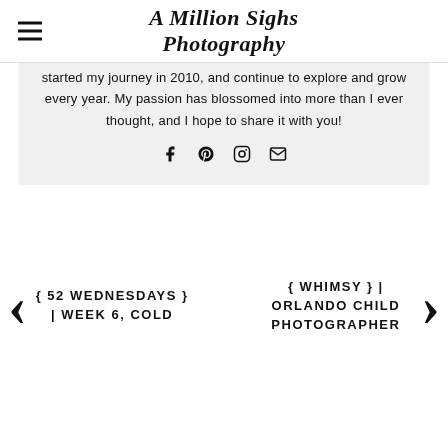A Million Sighs Photography
started my journey in 2010, and continue to explore and grow every year. My passion has blossomed into more than I ever thought, and I hope to share it with you!
[Figure (infographic): Social media icons: Facebook, Pinterest, Instagram, Email]
{ 52 WEDNESDAYS } | WEEK 6, COLD
{ WHIMSY } | ORLANDO CHILD PHOTOGRAPHER